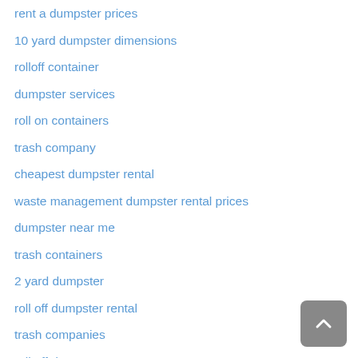rent a dumpster prices
10 yard dumpster dimensions
rolloff container
dumpster services
roll on containers
trash company
cheapest dumpster rental
waste management dumpster rental prices
dumpster near me
trash containers
2 yard dumpster
roll off dumpster rental
trash companies
roll off dumpsters
small dumpster rental prices
bin rental
construction dumpster sizes
home dumpster rental
rolloff rental